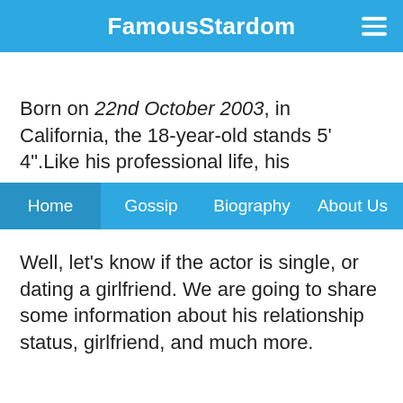FamousStardom
Born on 22nd October 2003, in California, the 18-year-old stands 5' 4".Like his professional life, his
Home  Gossip  Biography  About Us
Well, let's know if the actor is single, or dating a girlfriend. We are going to share some information about his relationship status, girlfriend, and much more.